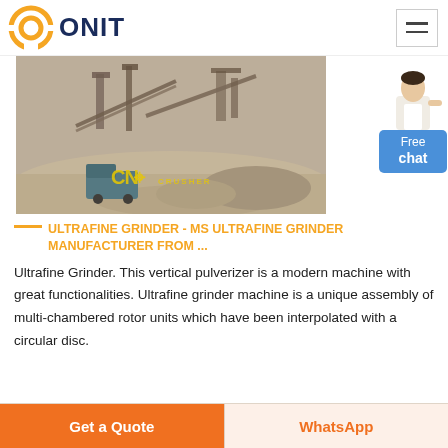ONIT
[Figure (photo): Mining/crushing site with heavy machinery, conveyor belts, and a truck on a dirt road. CN CRUSHER watermark visible at bottom center of image.]
ULTRAFINE GRINDER - MS ULTRAFINE GRINDER MANUFACTURER FROM ...
Ultrafine Grinder. This vertical pulverizer is a modern machine with great functionalities. Ultrafine grinder machine is a unique assembly of multi-chambered rotor units which have been interpolated with a circular disc.
Get a Quote   WhatsApp